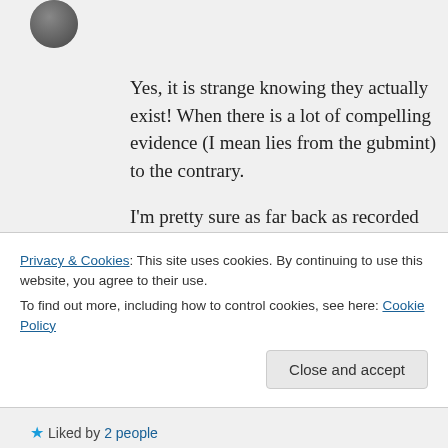[Figure (photo): User avatar photo, circular crop, dark/grey tones]
Yes, it is strange knowing they actually exist! When there is a lot of compelling evidence (I mean lies from the gubmint) to the contrary.

I'm pretty sure as far back as recorded history, they knew or stronlgy suspected the roundness of the earth. To deny it now with all of the modern tech (I mean lies from the gubmint) is beyond silly, bordering
Privacy & Cookies: This site uses cookies. By continuing to use this website, you agree to their use.
To find out more, including how to control cookies, see here: Cookie Policy
Close and accept
Liked by 2 people